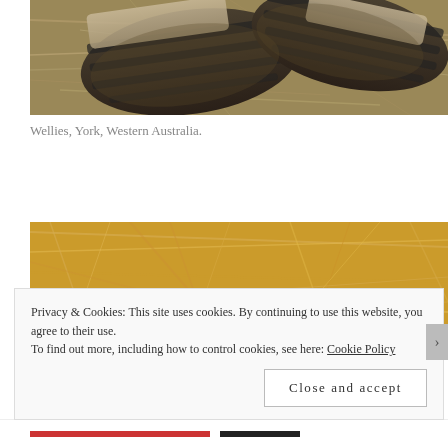[Figure (photo): Close-up photograph of the soles of wellington boots resting on dry straw/hay ground, showing muddy treaded rubber soles from below.]
Wellies, York, Western Australia.
[Figure (photo): Close-up photograph of dry golden straw or hay on the ground.]
Privacy & Cookies: This site uses cookies. By continuing to use this website, you agree to their use.
To find out more, including how to control cookies, see here: Cookie Policy
Close and accept